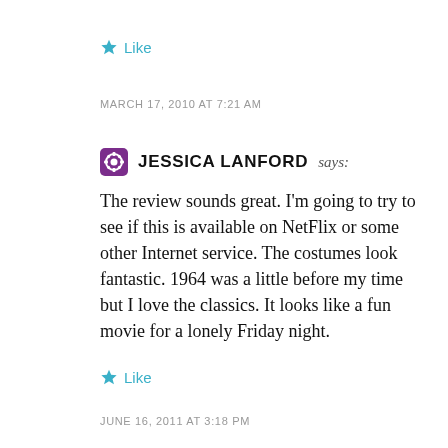★ Like
MARCH 17, 2010 AT 7:21 AM
JESSICA LANFORD says:
The review sounds great. I'm going to try to see if this is available on NetFlix or some other Internet service. The costumes look fantastic. 1964 was a little before my time but I love the classics. It looks like a fun movie for a lonely Friday night.
★ Like
JUNE 16, 2011 AT 3:18 PM